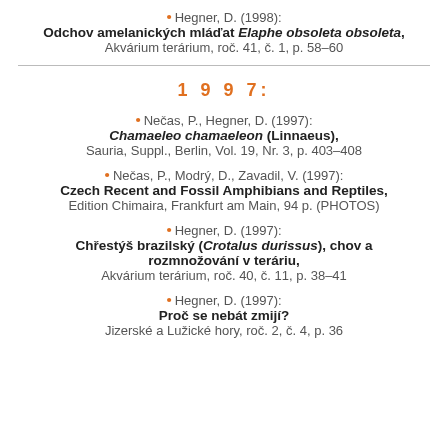Hegner, D. (1998): Odchov amelanických mláďat Elaphe obsoleta obsoleta, Akvárium terárium, roč. 41, č. 1, p. 58–60
1 9 9 7:
Nečas, P., Hegner, D. (1997): Chamaeleo chamaeleon (Linnaeus), Sauria, Suppl., Berlin, Vol. 19, Nr. 3, p. 403–408
Nečas, P., Modrý, D., Zavadil, V. (1997): Czech Recent and Fossil Amphibians and Reptiles, Edition Chimaira, Frankfurt am Main, 94 p. (PHOTOS)
Hegner, D. (1997): Chřestýš brazilský (Crotalus durissus), chov a rozmnožování v teráriu, Akvárium terárium, roč. 40, č. 11, p. 38–41
Hegner, D. (1997): Proč se nebát zmijí? Jizerské a Lužické hory, roč. 2, č. 4, p. 36